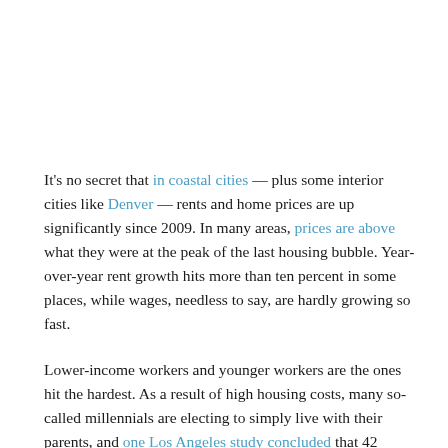It's no secret that in coastal cities — plus some interior cities like Denver — rents and home prices are up significantly since 2009. In many areas, prices are above what they were at the peak of the last housing bubble. Year-over-year rent growth hits more than ten percent in some places, while wages, needless to say, are hardly growing so fast.
Lower-income workers and younger workers are the ones hit the hardest. As a result of high housing costs, many so-called millennials are electing to simply live with their parents, and one Los Angeles study concluded that 42 percent of so-called millennials are living with their parents. Numbers were similar among metros in the northeast United States, as well.